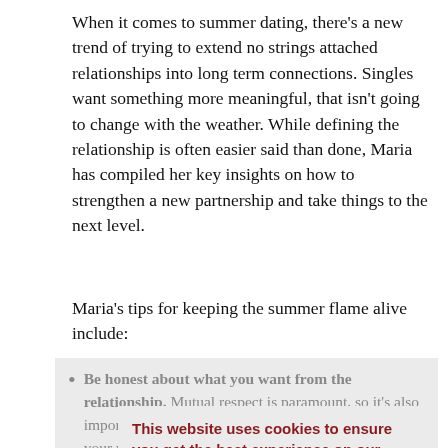When it comes to summer dating, there’s a new trend of trying to extend no strings attached relationships into long term connections. Singles want something more meaningful, that isn’t going to change with the weather. While defining the relationship is often easier said than done, Maria has compiled her key insights on how to strengthen a new partnership and take things to the next level.
Maria’s tips for keeping the summer flame alive include:
Be honest about what you want from the relationship. Mutual respect is paramount, so it’s also important that you’re being honest with yourself and your partner about your hopes and expectations. If you’re interested in creating a deeper bond with your new connection, share that with them sooner rather than later. Asse...
This website uses cookies to ensure you get the best experience on our website. Learn more
Got it!